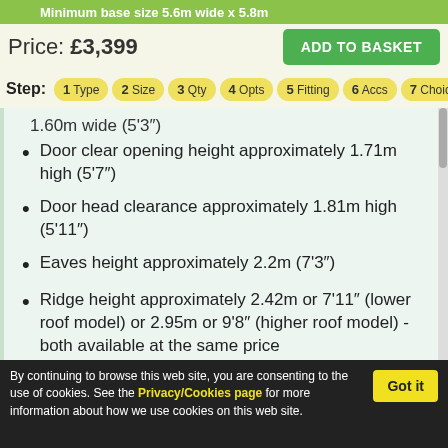Minimum base size 5.6m wide x 5.8m
Price: £3,399
ADD TO BASKET
Step: 1 Type  2 Size  3 Qty  4 Opts  5 Fitting  6 Accs  7 Choices
1.60m wide (5'3")
Door clear opening height approximately 1.71m high (5'7")
Door head clearance approximately 1.81m high (5'11")
Eaves height approximately 2.2m (7'3")
Ridge height approximately 2.42m or 7'11" (lower roof model) or 2.95m or 9'8" (higher roof model) - both available at the same price
Lower roof supplied as standard, higher
By continuing to browse this web site, you are consenting to the use of cookies. See the Privacy/Cookies page for more information about how we use cookies on this web site.
Got it